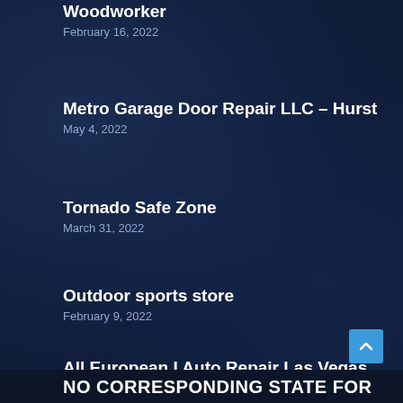Woodworker
February 16, 2022
Metro Garage Door Repair LLC – Hurst
May 4, 2022
Tornado Safe Zone
March 31, 2022
Outdoor sports store
February 9, 2022
All European I Auto Repair Las Vegas
June 29, 2022
NO CORRESPONDING STATE FOR